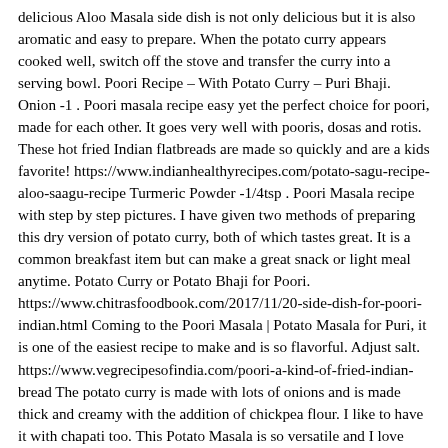delicious Aloo Masala side dish is not only delicious but it is also aromatic and easy to prepare. When the potato curry appears cooked well, switch off the stove and transfer the curry into a serving bowl. Poori Recipe – With Potato Curry – Puri Bhaji. Onion -1 . Poori masala recipe easy yet the perfect choice for poori, made for each other. It goes very well with pooris, dosas and rotis. These hot fried Indian flatbreads are made so quickly and are a kids favorite! https://www.indianhealthyrecipes.com/potato-sagu-recipe-aloo-saagu-recipe Turmeric Powder -1/4tsp . Poori Masala recipe with step by step pictures. I have given two methods of preparing this dry version of potato curry, both of which tastes great. It is a common breakfast item but can make a great snack or light meal anytime. Potato Curry or Potato Bhaji for Poori. https://www.chitrasfoodbook.com/2017/11/20-side-dish-for-poori-indian.html Coming to the Poori Masala | Potato Masala for Puri, it is one of the easiest recipe to make and is so flavorful. Adjust salt. https://www.vegrecipesofindia.com/poori-a-kind-of-fried-indian-bread The potato curry is made with lots of onions and is made thick and creamy with the addition of chickpea flour. I like to have it with chapati too. This Potato Masala is so versatile and I love that it is easy to make in less than 30 minutes. Adding besan (chick pea flour) towards the end of the cooking process gives an interesting twist and has a more curry … But this dish also goes well with naan bread, rice and quinoa. I enjoy poori most with potato curry and halwa. Peel the skin of the boiled potatoes. This meal is definitely a crowd please. worry about the extra calories